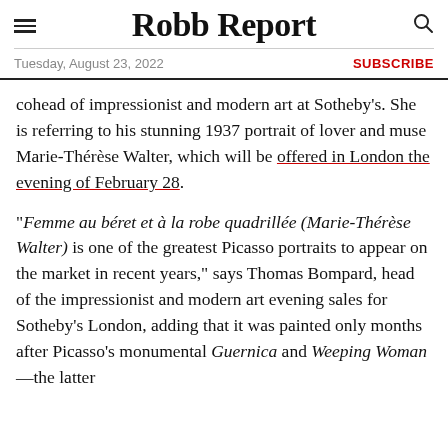Robb Report
Tuesday, August 23, 2022 | SUBSCRIBE
cohead of impressionist and modern art at Sotheby's. She is referring to his stunning 1937 portrait of lover and muse Marie-Thérèse Walter, which will be offered in London the evening of February 28.
“Femme au béret et à la robe quadrillée (Marie-Thérèse Walter) is one of the greatest Picasso portraits to appear on the market in recent years,” says Thomas Bompard, head of the impressionist and modern art evening sales for Sotheby’s London, adding that it was painted only months after Picasso’s monumental Guernica and Weeping Woman—the latter